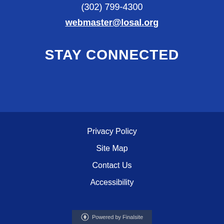(302) 799-4300
webmaster@losal.org
STAY CONNECTED
Privacy Policy
Site Map
Contact Us
Accessibility
Powered by Finalsite